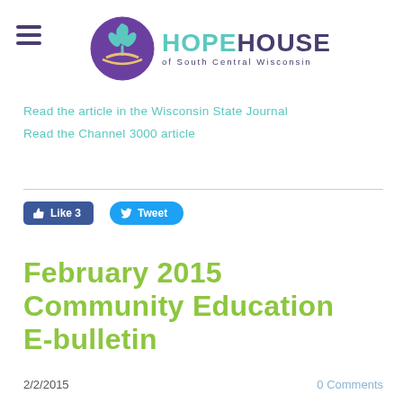[Figure (logo): Hope House of South Central Wisconsin logo with teal leaf/plant icon in purple circle and organization name]
Read the article in the Wisconsin State Journal
Read the Channel 3000 article
[Figure (other): Facebook Like 3 button and Twitter Tweet button]
February 2015 Community Education E-bulletin
2/2/2015    0 Comments